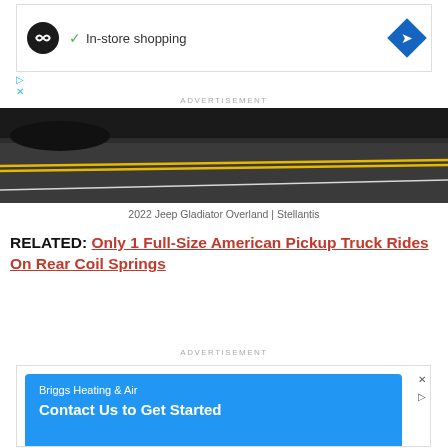[Figure (infographic): Advertisement banner with a black circular logo with infinity-like symbol, checkmark and 'In-store shopping' text, and a blue diamond navigation arrow on the right]
ADVERTISEMENT
[Figure (photo): Road surface photo showing asphalt with yellow and white road markings, partial view of a vehicle at top — 2022 Jeep Gladiator Overland | Stellantis]
2022 Jeep Gladiator Overland | Stellantis
RELATED: Only 1 Full-Size American Pickup Truck Rides On Rear Coil Springs
ADVERTISEMENT
[Figure (infographic): Advertisement banner with blue background showing 'Briggs Heating & Air' and 'Contact Us to Get Started' text]